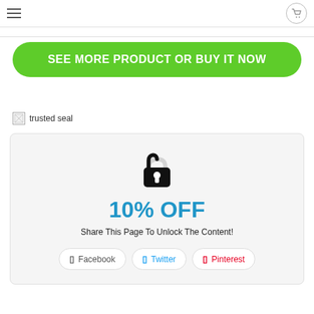≡  [nav bar]  🛒
[broken image] trusted seal
SEE MORE PRODUCT OR BUY IT NOW
[Figure (infographic): Discount unlock card with padlock icon, '10% OFF' in blue bold text, 'Share This Page To Unlock The Content!' message, and three social share buttons: Facebook, Twitter, Pinterest]
10% OFF
Share This Page To Unlock The Content!
Facebook  Twitter  Pinterest